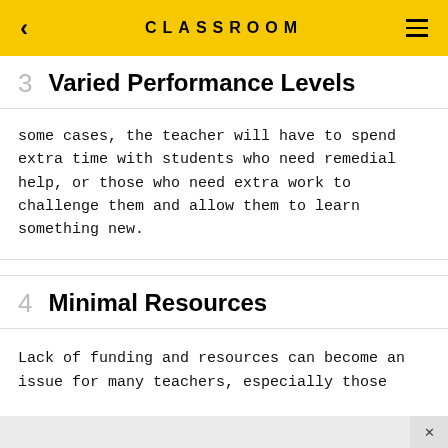CLASSROOM
3  Varied Performance Levels
some cases, the teacher will have to spend extra time with students who need remedial help, or those who need extra work to challenge them and allow them to learn something new.
4  Minimal Resources
Lack of funding and resources can become an issue for many teachers, especially those